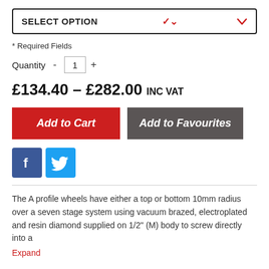SELECT OPTION
* Required Fields
Quantity - 1 +
£134.40 – £282.00 INC VAT
Add to Cart
Add to Favourites
[Figure (infographic): Facebook and Twitter social share icons]
The A profile wheels have either a top or bottom 10mm radius over a seven stage system using vacuum brazed, electroplated and resin diamond supplied on 1/2" (M) body to screw directly into a
Expand